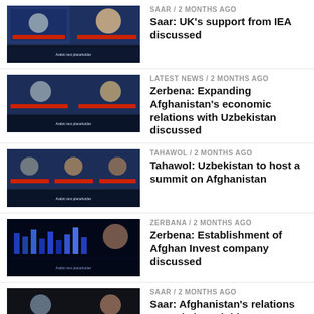[Figure (screenshot): TV screenshot showing two men in a news discussion panel]
SAAR / 2 months ago
Saar: UK's support from IEA discussed
[Figure (screenshot): TV screenshot showing two men in a news discussion panel]
LATEST NEWS / 2 months ago
Zerbena: Expanding Afghanistan's economic relations with Uzbekistan discussed
[Figure (screenshot): TV screenshot showing three men in a news discussion panel]
TAHAWOL / 2 months ago
Tahawol: Uzbekistan to host a summit on Afghanistan
[Figure (screenshot): TV screenshot showing a financial/economic show with blue graphics]
ZERBANA / 2 months ago
Zerbena: Establishment of Afghan Invest company discussed
[Figure (screenshot): TV screenshot showing two men in a news discussion panel]
SAAR / 2 months ago
Saar: Afghanistan's relations towards its neighbors discussed